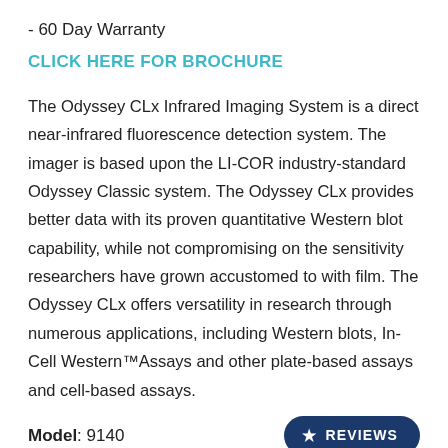- 60 Day Warranty
CLICK HERE FOR BROCHURE
The Odyssey CLx Infrared Imaging System is a direct near-infrared fluorescence detection system. The imager is based upon the LI-COR industry-standard Odyssey Classic system. The Odyssey CLx provides better data with its proven quantitative Western blot capability, while not compromising on the sensitivity researchers have grown accustomed to with film. The Odyssey CLx offers versatility in research through numerous applications, including Western blots, In-Cell Western™Assays and other plate-based assays and cell-based assays.
Model: 9140
REVIEWS
Manufactured: March 2014